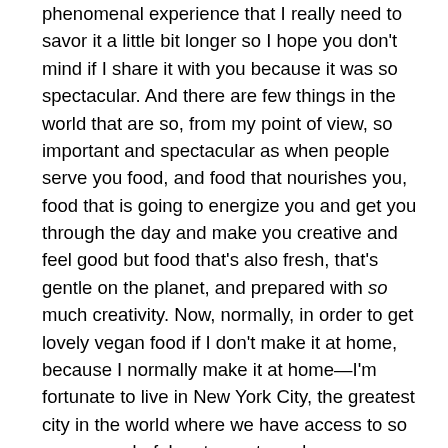phenomenal experience that I really need to savor it a little bit longer so I hope you don't mind if I share it with you because it was so spectacular. And there are few things in the world that are so, from my point of view, so important and spectacular as when people serve you food, and food that nourishes you, food that is going to energize you and get you through the day and make you creative and feel good but food that's also fresh, that's gentle on the planet, and prepared with so much creativity. Now, normally, in order to get lovely vegan food if I don't make it at home, because I normally make it at home—I'm fortunate to live in New York City, the greatest city in the world where we have access to so many wonderful restaurants and so many wonderful vegan restaurants and I did not go to a vegan restaurant. Today I was invited to a restaurant called Rouge Tomate, and they focus on organic, sustainable foods, and they made a spectacular vegan presentation for us: four courses of incredible, beautiful, colorful, creative foods that were paired with biodynamic wines. Every bite I kept thinking, I wish this for the world. Of course I would love to see hunger removed from the planet. No one should go to bed hungry. Everyone should have enough food to eat, but I don't